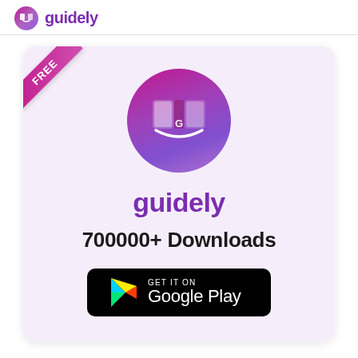guidely
[Figure (logo): Guidely app promotional card with FREE ribbon, circular gradient logo with book icon, 'guidely' brand name in purple, '700000+ Downloads' text, and Google Play download button on a lavender background]